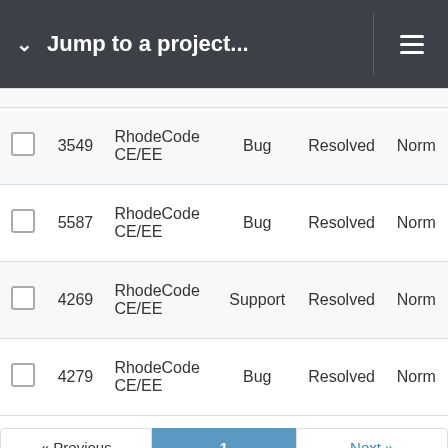Jump to a project...
|  | # | Project | Tracker | Status | Priority |
| --- | --- | --- | --- | --- | --- |
| ☐ | 3549 | RhodeCode CE/EE | Bug | Resolved | Norm |
| ☐ | 5587 | RhodeCode CE/EE | Bug | Resolved | Norm |
| ☐ | 4269 | RhodeCode CE/EE | Support | Resolved | Norm |
| ☐ | 4279 | RhodeCode CE/EE | Bug | Resolved | Norm |
« Previous  1  Next »
(1-100/439) Per page: 25, 50, 100, 500
Also available in: Atom | CSV | PDF